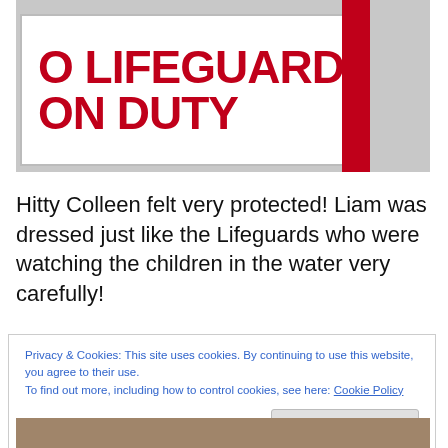[Figure (photo): Photo of a sign reading 'NO LIFEGUARD ON DUTY' in red letters on white background, with a red post visible to the right, near water]
Hitty Colleen felt very protected! Liam was dressed just like the Lifeguards who were watching the children in the water very carefully!
Privacy & Cookies: This site uses cookies. By continuing to use this website, you agree to their use.
To find out more, including how to control cookies, see here: Cookie Policy
[Figure (photo): Bottom portion of a photo showing people near water]